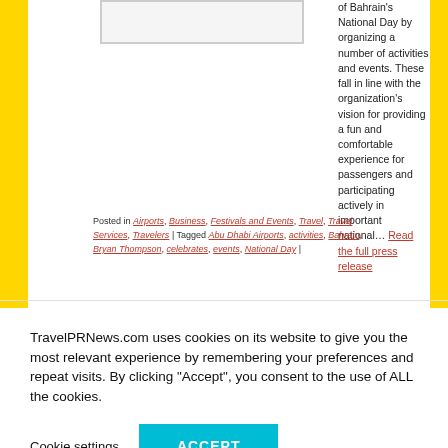[Figure (photo): Image placeholder (article image, cropped top)]
of Bahrain's National Day by organizing a number of activities and events. These fall in line with the organization's vision for providing a fun and comfortable experience for passengers and participating actively in important national… Read the full press release
Posted in Airports, Business, Festivals and Events, Travel, Travel Services, Travelers | Tagged Abu Dhabi Airports, activities, Bahrain, Bryan Thompson, celebrates, events, National Day |
TravelPRNews.com uses cookies on its website to give you the most relevant experience by remembering your preferences and repeat visits. By clicking "Accept", you consent to the use of ALL the cookies.
Cookie settings ACCEPT